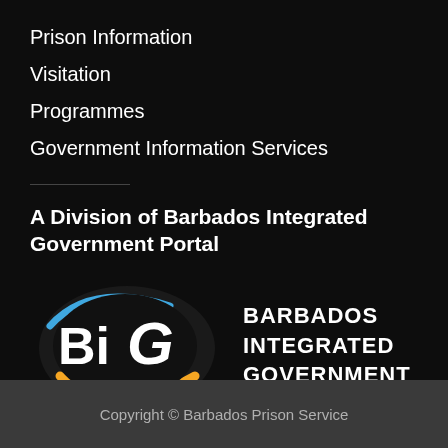Prison Information
Visitation
Programmes
Government Information Services
A Division of Barbados Integrated Government Portal
[Figure (logo): Barbados Integrated Government (BiG) logo with 'Access Barbados' tagline and the text BARBADOS INTEGRATED GOVERNMENT]
Copyright © Barbados Prison Service